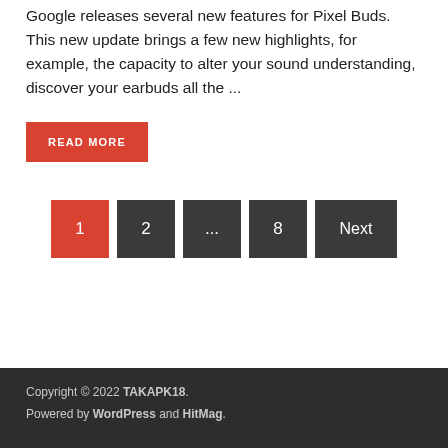Google releases several new features for Pixel Buds. This new update brings a few new highlights, for example, the capacity to alter your sound understanding, discover your earbuds all the ...
READ MORE
1  2  ...  8  Next
Copyright © 2022 TAKAPK18.
Powered by WordPress and HitMag.